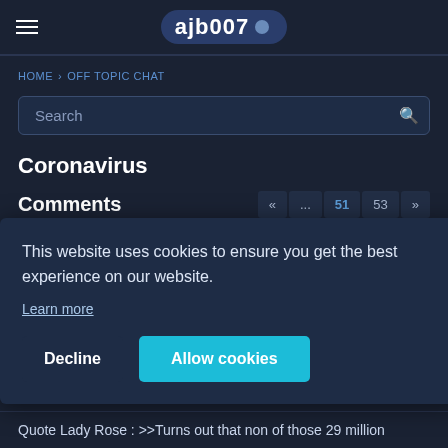ajb007
HOME › OFF TOPIC CHAT
Search
Coronavirus
Comments
This website uses cookies to ensure you get the best experience on our website. Learn more
Decline  Allow cookies
Quote Lady Rose : >>Turns out that non of those 29 million